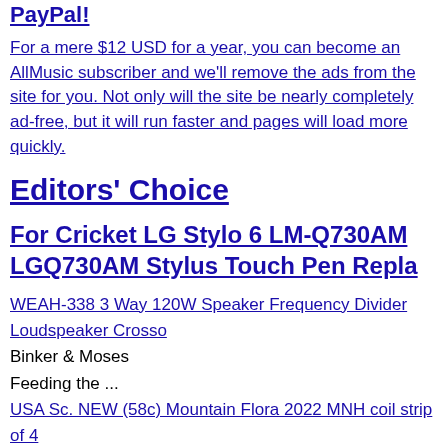PayPal!
For a mere $12 USD for a year, you can become an AllMusic subscriber and we'll remove the ads from the site for you. Not only will the site be nearly completely ad-free, but it will run faster and pages will load more quickly.
Editors' Choice
For Cricket LG Stylo 6 LM-Q730AM LGQ730AM Stylus Touch Pen Repla
WEAH-338 3 Way 120W Speaker Frequency Divider Loudspeaker Crosso
Binker & Moses
Feeding the ...
USA Sc. NEW (58c) Mountain Flora 2022 MNH coil strip of 4
Shane Parish
Liverpool
NICE NEW 51/2"X41/2" TOWLE STERLING SILVER CUTE BABY PICTURE TAB
Wet Leg
Wet Leg
Greg Spero